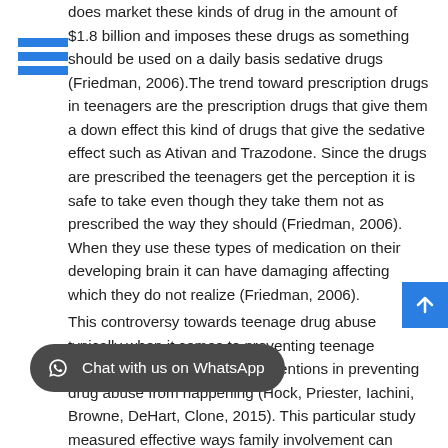does market these kinds of drug in the amount of $1.8 billion and imposes these drugs as something should be used on a daily basis sedative drugs (Friedman, 2006).The trend toward prescription drugs in teenagers are the prescription drugs that give them a down effect this kind of drugs that give the sedative effect such as Ativan and Trazodone. Since the drugs are prescribed the teenagers get the perception it is safe to take even though they take them not as prescribed the way they should (Friedman, 2006). When they use these types of medication on their developing brain it can have damaging affecting which they do not realize (Friedman, 2006).
This controversy towards teenage drug abuse typically when it comes to preventing teenage prevention with important interventions in preventing drug abuse from happening (Hock, Priester, Iachini, Browne, DeHart, Clone, 2015). This particular study measured effective ways family involvement can minimize the risk for substance-use (Hock et al, 2015). Another study suggested using motivational interviewing with these teams joined with cognitive behavioral therapy they saw improved changes in treatment (Whitten, 2013).
Both these studies have discussed treatment options when it